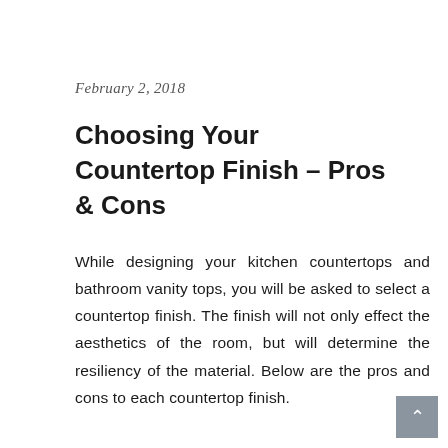February 2, 2018
Choosing Your Countertop Finish – Pros & Cons
While designing your kitchen countertops and bathroom vanity tops, you will be asked to select a countertop finish. The finish will not only effect the aesthetics of the room, but will determine the resiliency of the material. Below are the pros and cons to each countertop finish.